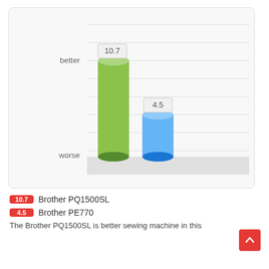[Figure (bar-chart): ]
10.7  Brother PQ1500SL
4.5  Brother PE770
The Brother PQ1500SL is better sewing machine in this